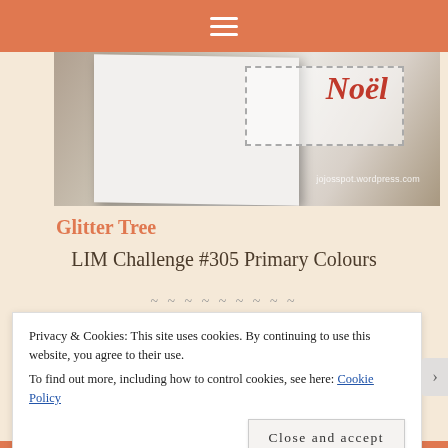≡
[Figure (photo): A white greeting card standing upright on a grey surface, with a stamp-like border detail and red cursive 'Noël' script on the front, watermarked 'jojosspot.wordpress.com']
Glitter Tree
LIM Challenge #305 Primary Colours
~ ~ ~ ~ ~ ~ ~ ~ ~
Privacy & Cookies: This site uses cookies. By continuing to use this website, you agree to their use.
To find out more, including how to control cookies, see here: Cookie Policy
Close and accept